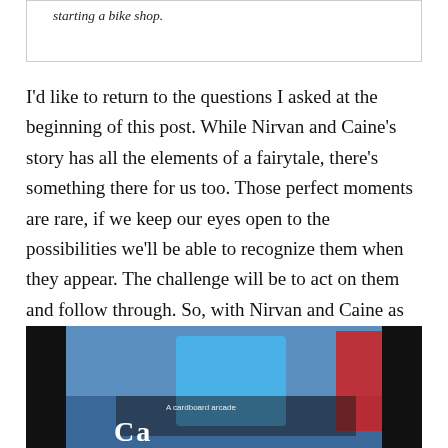starting a bike shop.
I'd like to return to the questions I asked at the beginning of this post. While Nirvan and Caine's story has all the elements of a fairytale, there's something there for us too. Those perfect moments are rare, if we keep our eyes open to the possibilities we'll be able to recognize them when they appear. The challenge will be to act on them and follow through. So, with Nirvan and Caine as our inspirational guides, the take away is this: when opportunity knocks, open the door.
[Figure (photo): A young boy in a blue t-shirt standing in front of a cardboard arcade sign. The photo shows the boy smiling with colorful signage behind him including a red banner.]